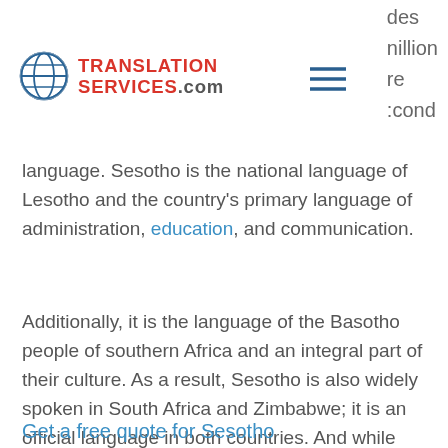TranslationServices.com — navigation header with logo and menu icon
des million re cond (partial text visible on right side, clipped from previous scroll)
language. Sesotho is the national language of Lesotho and the country's primary language of administration, education, and communication.
Additionally, it is the language of the Basotho people of southern Africa and an integral part of their culture. As a result, Sesotho is also widely spoken in South Africa and Zimbabwe; it is an official language in both countries. And while many Sesotho speakers are multilingual, reaching this audience requires more than using English or a neighboring African language.
Get a free quote for Sesotho